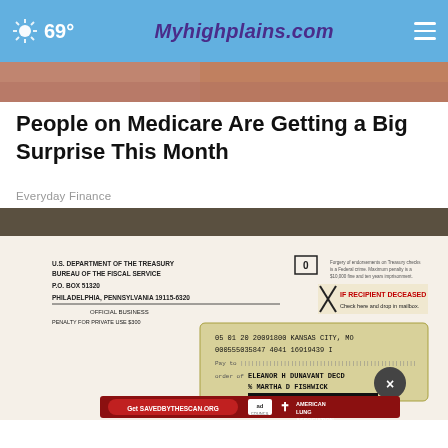69° Myhighplains.com
[Figure (screenshot): Top portion of a photograph, showing skin/flesh tones]
People on Medicare Are Getting a Big Surprise This Month
Everyday Finance
[Figure (photo): Photo of a U.S. Department of the Treasury Bureau of the Fiscal Service envelope. P.O. BOX 51320, PHILADELPHIA, PENNSYLVANIA 19115-6320. OFFICIAL BUSINESS PENALTY FOR PRIVATE USE $300. Check number 05 01 20 20091800 KANSAS CITY, MO 000555035847 4041 16919439 1. Pay to order of ELEANOR H DUNAVANT DECD % MARTHA D FISHWICK. Address redacted with black bar. Ad banner overlay: Get SAVEDBYTHESCAN.ORG, Ad Council logo, American Lung Association logo. Close button (x).]